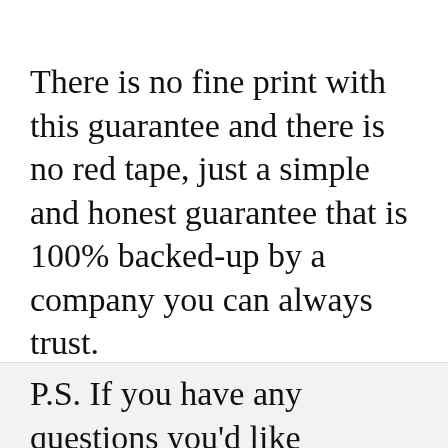There is no fine print with this guarantee and there is no red tape, just a simple and honest guarantee that is 100% backed-up by a company you can always trust.
P.S. If you have any questions you'd like answered before you